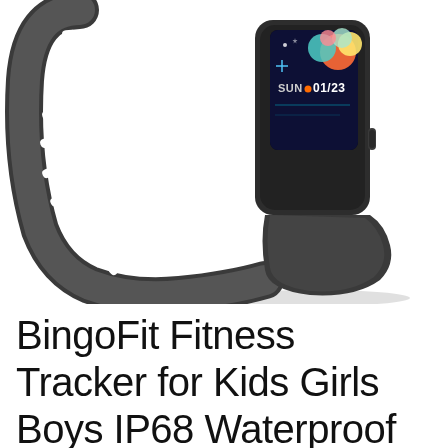[Figure (photo): A dark gray/black fitness tracker smartband photographed at an angle. The band curves around in a loop showing multiple oval vent holes along the strap. The tracker display shows 'SUN 01/23' with colorful watch face graphics. A button is visible on the side of the device. White background with slight shadow.]
BingoFit Fitness Tracker for Kids Girls Boys IP68 Waterproof Activity